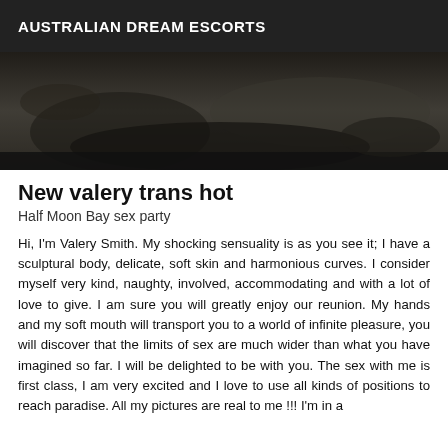AUSTRALIAN DREAM ESCORTS
[Figure (photo): Dark moody photo, appears to show rocky or earthy textured surface, very dark tones]
New valery trans hot
Half Moon Bay sex party
Hi, I'm Valery Smith. My shocking sensuality is as you see it; I have a sculptural body, delicate, soft skin and harmonious curves. I consider myself very kind, naughty, involved, accommodating and with a lot of love to give. I am sure you will greatly enjoy our reunion. My hands and my soft mouth will transport you to a world of infinite pleasure, you will discover that the limits of sex are much wider than what you have imagined so far. I will be delighted to be with you. The sex with me is first class, I am very excited and I love to use all kinds of positions to reach paradise. All my pictures are real to me !!! I'm in a